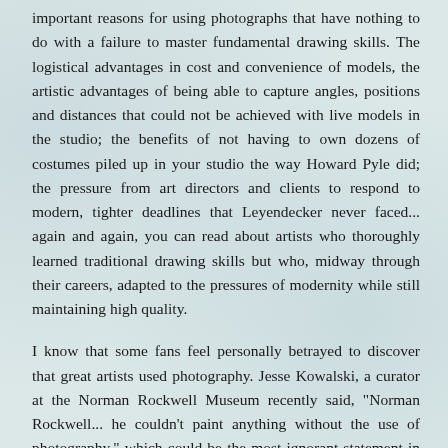important reasons for using photographs that have nothing to do with a failure to master fundamental drawing skills. The logistical advantages in cost and convenience of models, the artistic advantages of being able to capture angles, positions and distances that could not be achieved with live models in the studio; the benefits of not having to own dozens of costumes piled up in your studio the way Howard Pyle did; the pressure from art directors and clients to respond to modern, tighter deadlines that Leyendecker never faced... again and again, you can read about artists who thoroughly learned traditional drawing skills but who, midway through their careers, adapted to the pressures of modernity while still maintaining high quality.
I know that some fans feel personally betrayed to discover that great artists used photography. Jesse Kowalski, a curator at the Norman Rockwell Museum recently said, "Norman Rockwell... he couldn't paint anything without the use of photography," which could be the most ignorant statement in the history of illustration. It seems similarly peculiar to me when people attack Briggs (who quit his job as an illustrator mid-career to go back and re-learn the fundamentals). Everett (who thoroughly learned traditional drawing skills...